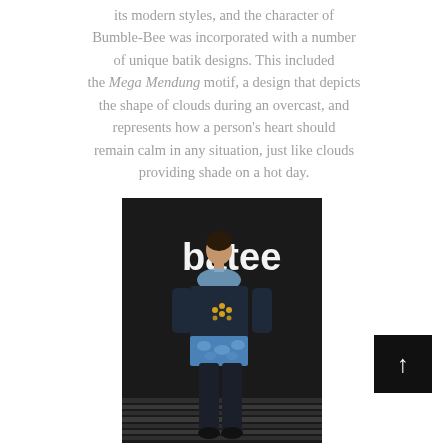its modern styles, and the character of Bumble-Bee was incorporated with a number of unique batik designs. This included the Mega Mendung motif, a design that depicts the shape of clouds during an overcast, and represents how a person's heart should remain calm in any situation, just like clouds providing shade on a hot day.
[Figure (photo): Model on a runway wearing a dark navy sweater with a blue scarf and blue patterned skirt/top underneath, with dark trousers, in front of a dark backdrop with 'batee' text visible.]